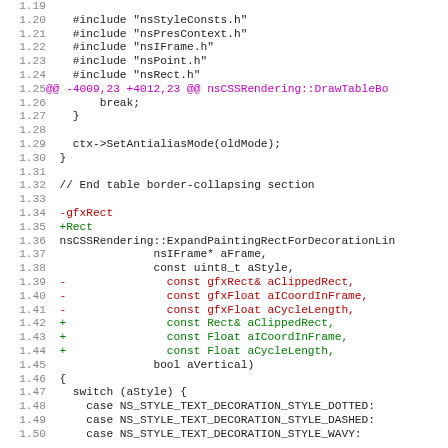Code diff showing C++ source file modifications including include directives, function signature changes replacing gfxRect/gfxFloat with Rect/Float types, and switch statement cases for NS_STYLE_TEXT_DECORATION_STYLE values.